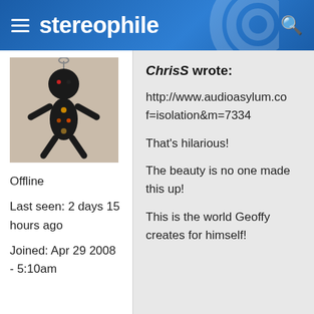stereophile
[Figure (photo): Avatar image of a voodoo doll-like figurine made of beads]
Offline

Last seen: 2 days 15 hours ago

Joined: Apr 29 2008 - 5:10am
ChrisS wrote:

http://www.audioasylum.co f=isolation&m=7334

That's hilarious!

The beauty is no one made this up!

This is the world Geoffy creates for himself!